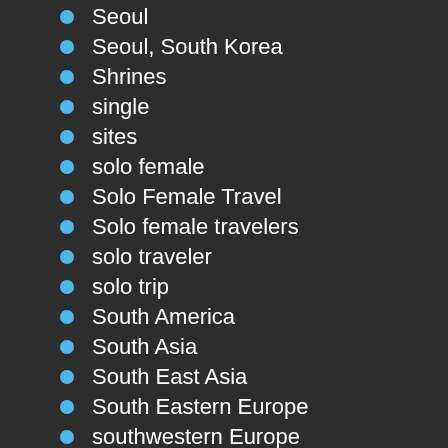Seoul
Seoul, South Korea
Shrines
single
sites
solo female
Solo Female Travel
Solo female travelers
solo traveler
solo trip
South America
South Asia
South East Asia
South Eastern Europe
southwestern Europe